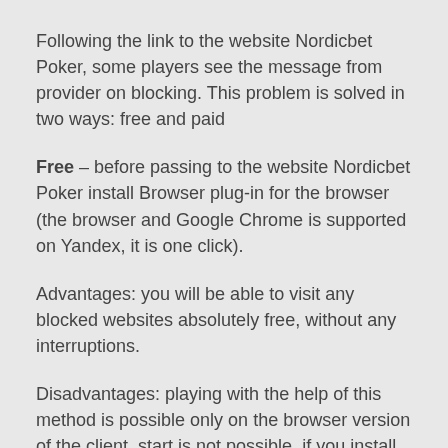Following the link to the website Nordicbet Poker, some players see the message from provider on blocking. This problem is solved in two ways: free and paid
Free — before passing to the website Nordicbet Poker install Browser plug-in for the browser (the browser and Google Chrome is supported on Yandex, it is one click).
Advantages: you will be able to visit any blocked websites absolutely free, without any interruptions.
Disadvantages: playing with the help of this method is possible only on the browser version of the client, start is not possible, if you install the poker software on the PC.
P.S.: In Nordicbet Poker registration by means of tournament tickets is only possible in the downloaded